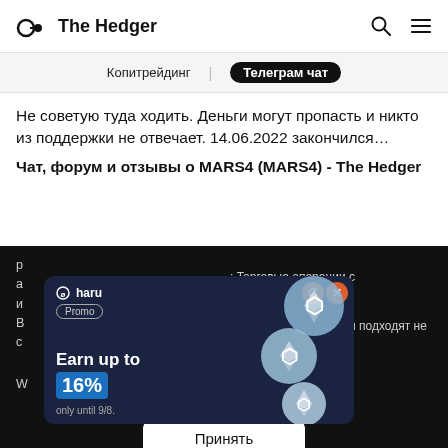The Hedger
Копитрейдинг | Телеграм чат
Не советую туда ходить. Деньги могут пропасть и никто из поддержки не отвечает. 14.06.2022 закончился…
Чат, форум и отзывы о MARS4 (MARS4) - The Hedger
[Figure (screenshot): Dark footer section with Russian text about trading risks and cryptocurrency volatility, overlaid with a Haru promotional ad banner offering 'Earn up to 16%' with Ethereum coin graphics, a close button, and a cookie consent bar with 'Принять' button and Privacy Policy link.]